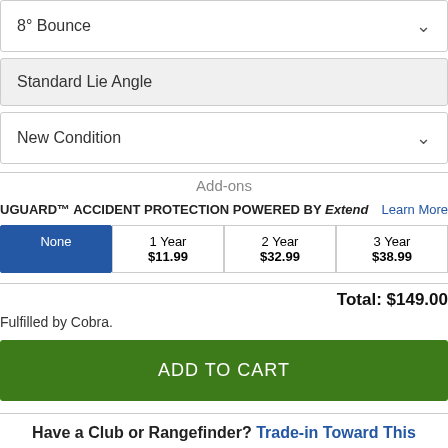8° Bounce
Standard Lie Angle
New Condition
Add-ons
UGUARD™ ACCIDENT PROTECTION POWERED BY Extend   Learn More
| None | 1 Year $11.99 | 2 Year $32.99 | 3 Year $38.99 |
| --- | --- | --- | --- |
Total: $149.00
Fulfilled by Cobra.
ADD TO CART
Have a Club or Rangefinder? Trade-in Toward This Purchase